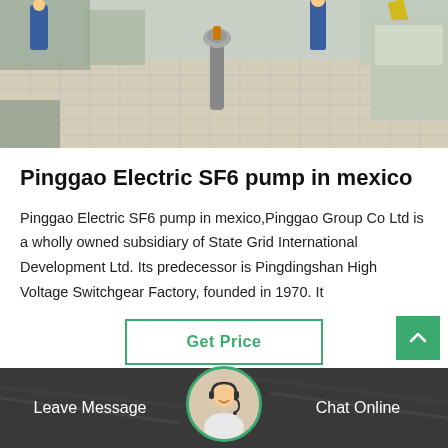[Figure (photo): Industrial facility floor showing workers in blue uniforms, equipment including a vacuum cleaner/industrial tool in center, tiled floor, and various machinery along the side.]
Pinggao Electric SF6 pump in mexico
Pinggao Electric SF6 pump in mexico,Pinggao Group Co Ltd is a wholly owned subsidiary of State Grid International Development Ltd. Its predecessor is Pingdingshan High Voltage Switchgear Factory, founded in 1970. It
Get Price
[Figure (photo): Customer service representative avatar in circular green-bordered frame, shown in footer bar.]
Leave Message
Chat Online